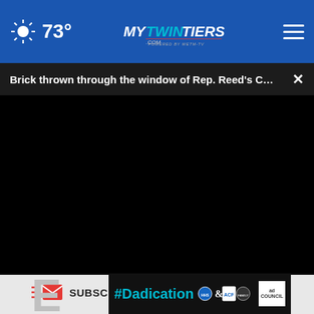mytwintiers.com — 73°
Brick thrown through the window of Rep. Reed's C…
[Figure (other): Black video player area]
SUBSCRIBE NOW
[Figure (other): #Dadication advertisement banner with HHS/ACF/Ad Council logos]